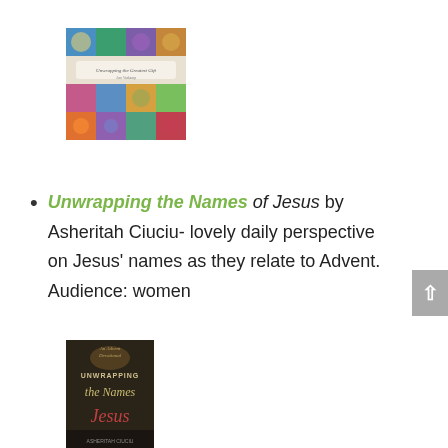[Figure (photo): Book cover for 'Unwrapping the Names of Jesus' - mosaic collage of colorful illustrated images arranged in a grid]
Unwrapping the Names of Jesus of Jesus by Asheritah Ciuciu- lovely daily perspective on Jesus' names as they relate to Advent. Audience: women
[Figure (photo): Book cover showing 'Unwrapping the Names of Jesus' with dark background and decorative text]